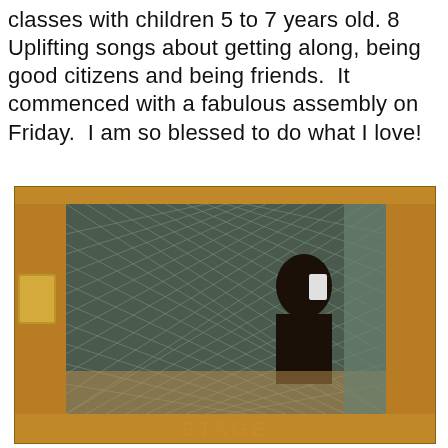classes with children 5 to 7 years old. 8 Uplifting songs about getting along, being good citizens and being friends. It commenced with a fabulous assembly on Friday. I am so blessed to do what I love!
[Figure (photo): Photo of a wooden door with wire-glass window panel, a brass push plate on the left side, and 'STAGE' text at the bottom. A person's reflection is visible in the glass holding a phone.]